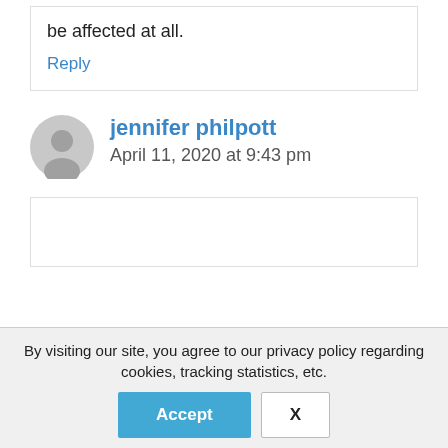be affected at all.
Reply
jennifer philpott
April 11, 2020 at 9:43 pm
By visiting our site, you agree to our privacy policy regarding cookies, tracking statistics, etc.
Accept
X